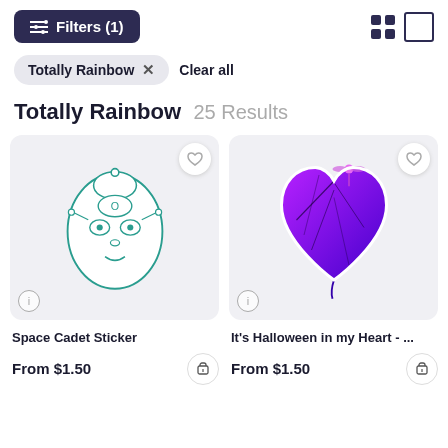[Figure (screenshot): Filter button with sliders icon and text 'Filters (1)' on dark navy background, plus grid/list view toggle icons on the right]
Totally Rainbow  X    Clear all
Totally Rainbow  25 Results
[Figure (illustration): Space Cadet sticker - a teal/dark outlined alien face with mechanical helmet, white background sticker shape]
[Figure (illustration): It's Halloween in my Heart sticker - a purple-to-blue gradient heart shape with dark vein-like lines and a small figure on top]
Space Cadet Sticker
It's Halloween in my Heart - ...
From $1.50
From $1.50